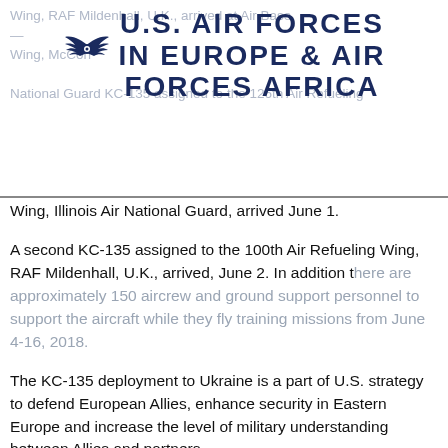U.S. AIR FORCES IN EUROPE & AIR FORCES AFRICA
Wing, Illinois Air National Guard, arrived June 1.
A second KC-135 assigned to the 100th Air Refueling Wing, RAF Mildenhall, U.K., arrived, June 2. In addition there are approximately 150 aircrew and ground support personnel to support the aircraft while they fly training missions from June 4-16, 2018.
The KC-135 deployment to Ukraine is a part of U.S. strategy to defend European Allies, enhance security in Eastern Europe and increase the level of military understanding between Allies and partners.
Basing tankers in western Ukraine also meets an operational training requirement allowing the United States